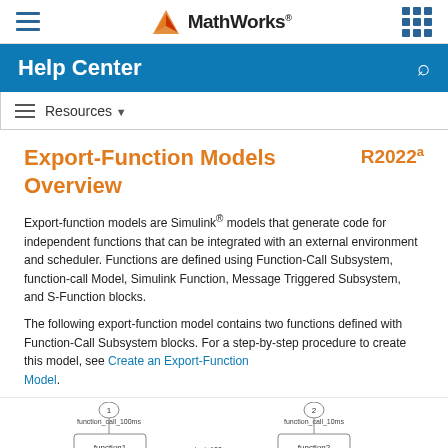MathWorks
Help Center
Resources
Export-Function Models Overview
R2022a
Export-function models are Simulink® models that generate code for independent functions that can be integrated with an external environment and scheduler. Functions are defined using Function-Call Subsystem, function-call Model, Simulink Function, Message Triggered Subsystem, and S-Function blocks.
The following export-function model contains two functions defined with Function-Call Subsystem blocks. For a step-by-step procedure to create this model, see Create an Export-Function Model.
[Figure (screenshot): Simulink block diagram showing an export-function model with two Function-Call Subsystem blocks labeled function_call_100ms and function_call_10ms]